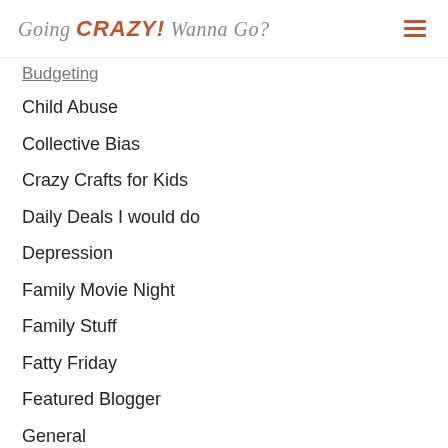Going CRAZY! Wanna Go?
Budgeting
Child Abuse
Collective Bias
Crazy Crafts for Kids
Daily Deals I would do
Depression
Family Movie Night
Family Stuff
Fatty Friday
Featured Blogger
General
Giveaways!!
Grace Cafe
Guest Posts